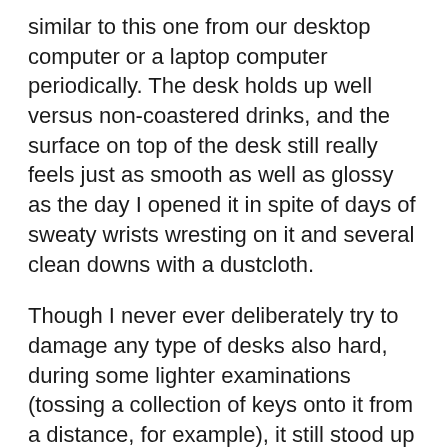similar to this one from our desktop computer or a laptop computer periodically. The desk holds up well versus non-coastered drinks, and the surface on top of the desk still really feels just as smooth as well as glossy as the day I opened it in spite of days of sweaty wrists wresting on it and several clean downs with a dustcloth.
Though I never ever deliberately try to damage any type of desks also hard, during some lighter examinations (tossing a collection of keys onto it from a distance, for example), it still stood up without a lot of noticeable signs of damages.
Last but not least, when I determined the sound outcome of the desk while it rose from